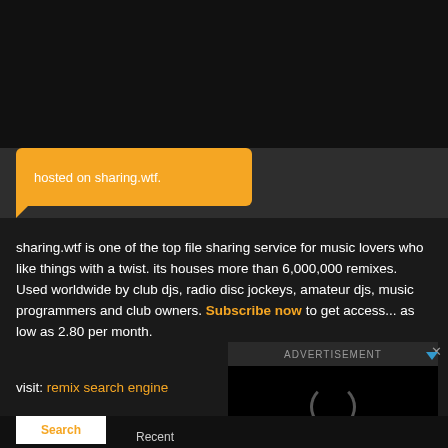hosted on sharing.wtf.
sharing.wtf is one of the top file sharing service for music lovers who like things with a twist. its houses more than 6,000,000 remixes. Used worldwide by club djs, radio disc jockeys, amateur djs, music programmers and club owners. Subscribe now to get access... as low as 2.80 per month.
visit: remix search engine
ADVERTISEMENT
Search
Recent